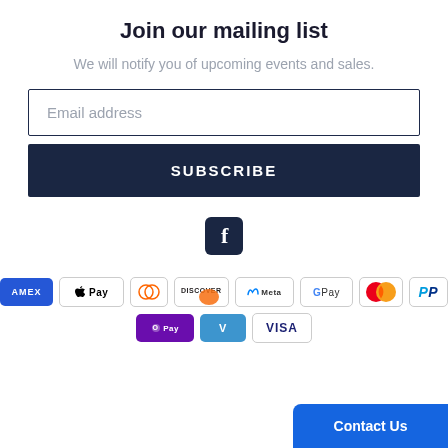Join our mailing list
We will notify you of upcoming events and sales.
[Figure (other): Email address input field with border]
[Figure (other): SUBSCRIBE button in dark navy blue]
[Figure (logo): Facebook icon - white F on dark navy square]
[Figure (other): Payment method logos: American Express, Apple Pay, Diners Club, Discover, Meta Pay, Google Pay, Mastercard, PayPal, Shop Pay, Venmo, Visa]
[Figure (other): Contact Us button in blue at bottom right corner]